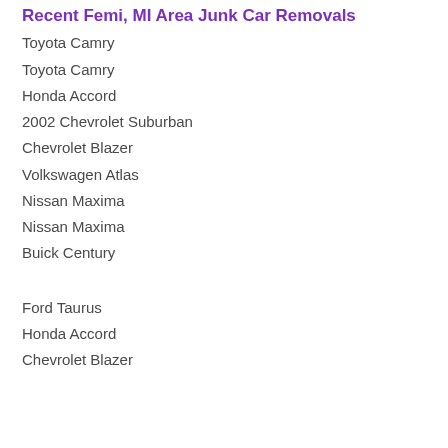Recent Femi, MI Area Junk Car Removals
Toyota Camry
Toyota Camry
Honda Accord
2002 Chevrolet Suburban
Chevrolet Blazer
Volkswagen Atlas
Nissan Maxima
Nissan Maxima
Buick Century
Ford Taurus
Honda Accord
Chevrolet Blazer